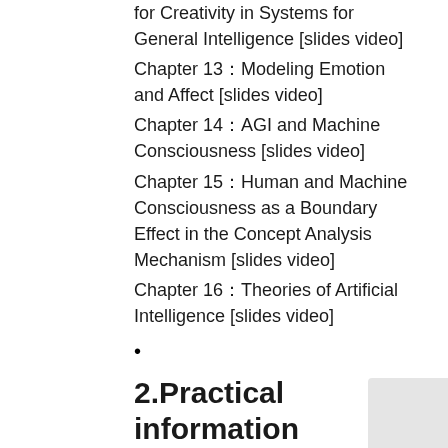for Creativity in Systems for General Intelligence [slides video]
Chapter 13：Modeling Emotion and Affect [slides video]
Chapter 14：AGI and Machine Consciousness [slides video]
Chapter 15：Human and Machine Consciousness as a Boundary Effect in the Concept Analysis Mechanism [slides video]
Chapter 16：Theories of Artificial Intelligence [slides video]
2.Practical information
Instructors：Jing ZHU